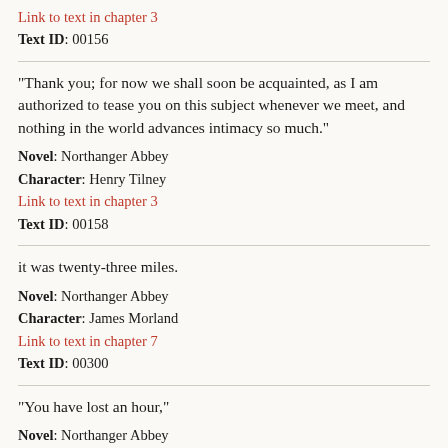Link to text in chapter 3
Text ID: 00156
“Thank you; for now we shall soon be acquainted, as I am authorized to tease you on this subject whenever we meet, and nothing in the world advances intimacy so much.”
Novel: Northanger Abbey
Character: Henry Tilney
Link to text in chapter 3
Text ID: 00158
it was twenty-three miles.
Novel: Northanger Abbey
Character: James Morland
Link to text in chapter 7
Text ID: 00300
“You have lost an hour,”
Novel: Northanger Abbey
Character: James Morland
Link to text in chapter 7